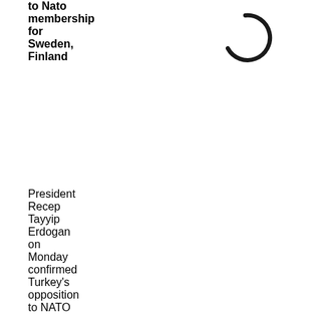to Nato membership for Sweden, Finland
[Figure (illustration): A circular loading spinner icon (open circle with gap at bottom-left), rendered in dark gray/black, indicating a loading state.]
President Recep Tayyip Erdogan on Monday confirmed Turkey's opposition to NATO membership for Finland and Sweden, again accusing